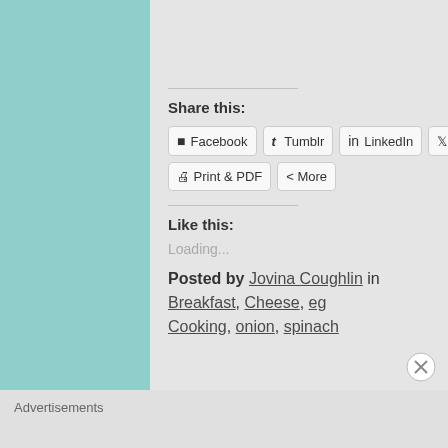[Figure (photo): Partial photo of a dark cooking pan or pot, cropped at top of page]
Share this:
Facebook  Tumblr  LinkedIn  Twitter  P...
Print & PDF  More
Like this:
Loading...
Posted by Jovina Coughlin in Breakfast, Cheese, eg... Cooking, onion, spinach
Advertisements